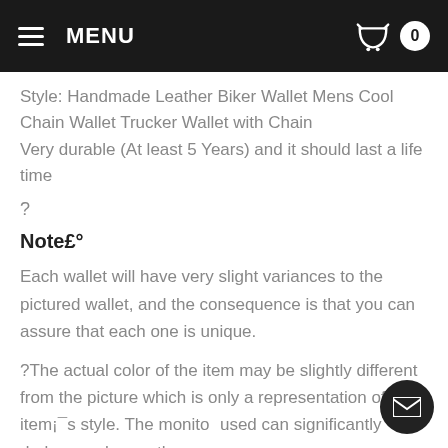MENU  0
Style: Handmade Leather Biker Wallet Mens Cool Chain Wallet Trucker Wallet with Chain
Very durable (At least 5 Years) and it should last a life time
?
Note£°
Each wallet will have very slight variances to the pictured wallet, and the consequence is that you can assure that each one is unique.
?The actual color of the item may be slightly different from the picture which is only a representation of the item¡¯s style. The monitor used can significantly darken or change the